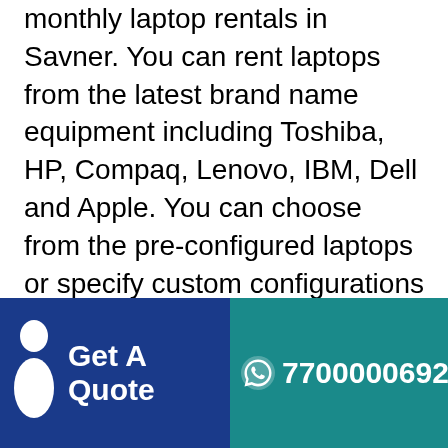monthly laptop rentals in Savner. You can rent laptops from the latest brand name equipment including Toshiba, HP, Compaq, Lenovo, IBM, Dell and Apple. You can choose from the pre-configured laptops or specify custom configurations for your laptop rentals. We offer the best laptop rental rates and laptop lease agreements as per the client's requirements, which makes us distinctive from the other laptop rental dealers in Savner. Are you looking for hundreds of laptops for rent in Savner that are all the same manufacturer model number? You need to rent a laptop for your employee, for training or other project? Wont Rent Zone offer the option for laptop
[Figure (infographic): Bottom banner with two panels: left dark blue panel with person icon and 'Get A Quote' text, right teal panel with WhatsApp icon and phone number 7700000692]